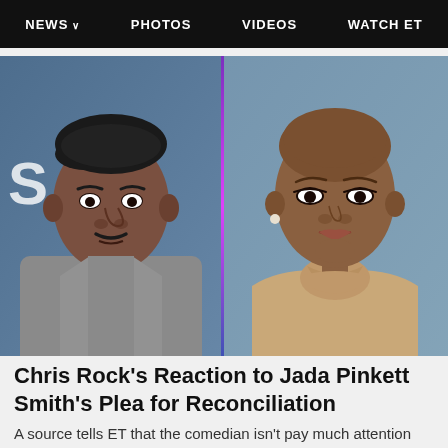NEWS  PHOTOS  VIDEOS  WATCH ET
[Figure (photo): Side-by-side photos of Chris Rock (left, in grey blazer with pink shirt, in front of blue background) and Jada Pinkett Smith (right, bald, in tan turtleneck dress, in front of grey-blue background), separated by a purple-blue vertical divider line.]
Chris Rock's Reaction to Jada Pinkett Smith's Plea for Reconciliation
A source tells ET that the comedian isn't pay much attention